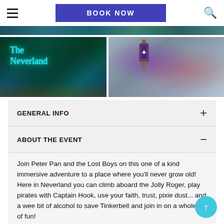BOOK NOW
[Figure (screenshot): Left thumbnail: neon sign reading 'The Neverland' on a dark tropical foliage background. Right thumbnail: people in costume with a purple lantern.]
GENERAL INFO
ABOUT THE EVENT
Join Peter Pan and the Lost Boys on this one of a kind immersive adventure to a place where you'll never grow old!
Here in Neverland you can climb aboard the Jolly Roger, play pirates with Captain Hook, use your faith, trust, pixie dust... and a wee bit of alcohol to save Tinkerbell and join in on a whole lot of fun!
Experience this magical wonder as together we bring to life this timeless classic.